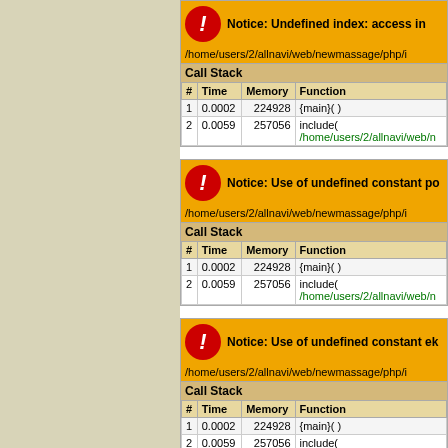[Figure (screenshot): PHP Notice error block 1: Undefined index: access in /home/users/2/allnavi/web/newmassage/php/i... with Call Stack table showing 2 rows]
[Figure (screenshot): PHP Notice error block 2: Use of undefined constant po... in /home/users/2/allnavi/web/newmassage/php/i... with Call Stack table showing 2 rows]
[Figure (screenshot): PHP Notice error block 3: Use of undefined constant ek... in /home/users/2/allnavi/web/newmassage/php/i... with Call Stack table showing 2 rows]
店舗情報
住所 : 東京都渋谷区神泉町5-7-18カサデリュース402